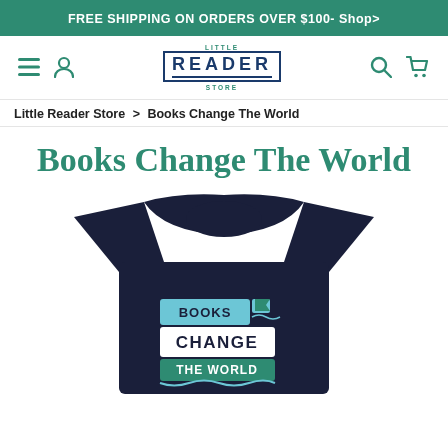FREE SHIPPING ON ORDERS OVER $100- Shop>
[Figure (logo): Little Reader Store logo with stylized READER text in navy box with teal accents]
Little Reader Store > Books Change The World
Books Change The World
[Figure (photo): Navy blue children's t-shirt with Books Change The World graphic print in teal and white on the chest]